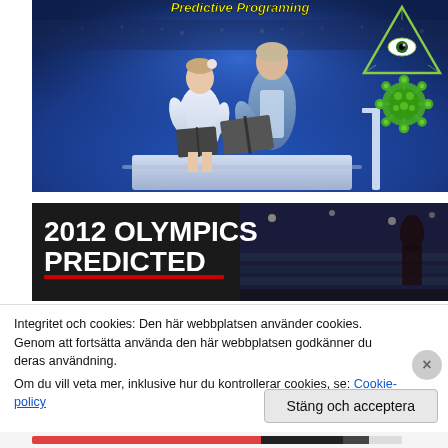[Figure (screenshot): Screenshot of a webpage showing a conspiracy theory video thumbnail. Top image: two children in white on a blue-lit stage at what appears to be the 2012 Olympics opening ceremony, with an illuminati eye triangle and green coronavirus graphic overlaid in top right. Yellow italic bold text at top reads 'Predictive Programing'. Bottom image thumbnail: '2012 OLYMPICS PREDICTED' text in bold white/red on dark background, with crowd scene on right half. A cookie consent banner overlays the bottom portion reading 'Integritet och cookies: Den här webbplatsen använder cookies. Genom att fortsätta använda den här webbplatsen godkänner du deras användning. Om du vill veta mer, inklusive hur du kontrollerar cookies, se: Cookie-policy' with a 'Stäng och acceptera' button.]